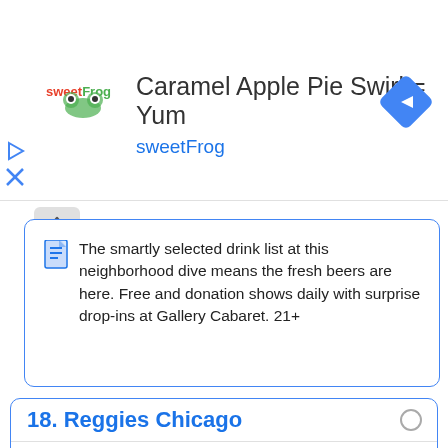[Figure (screenshot): SweetFrog advertisement banner with logo, title 'Caramel Apple Pie Swirl = Yum', brand name 'sweetFrog', and a blue diamond navigation icon]
The smartly selected drink list at this neighborhood dive means the fresh beers are here. Free and donation shows daily with surprise drop-ins at Gallery Cabaret. 21+
18. Reggies Chicago
4.5  2951 reviews  Location 4.7  Price/Quality 4.6